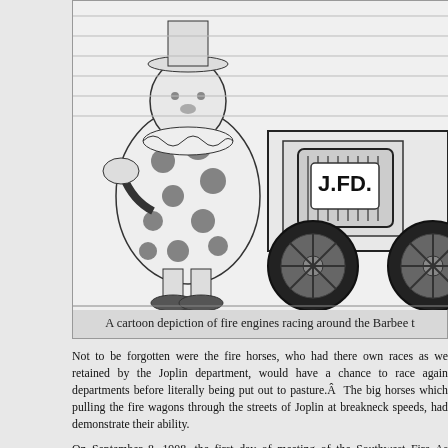[Figure (illustration): A black and white cartoon/illustration depicting a clown figure in a polka-dot outfit standing next to a fire engine with 'J.F.D.' written on the front grille. The scene shows fire engines racing.]
A cartoon depiction of fire engines racing around the Barbee t
Not to be forgotten were the fire horses, who had there own races as we retained by the Joplin department, would have a chance to race again departments before literally being put out to pasture.Â  The big horses which pulling the fire wagons through the streets of Joplin at breakneck speeds, had demonstrate their ability.
On September 8, 1908, the first day of meeting of the Southwest Fire As Tuesday morning with the business meeting of the association at the Comm Jesse Osborne enthusiastically greeted the firemen, “Joplin wants yo to The city is thrown wide open to you and if you see anything which you want t loose.” Speakers included an invocation by Reverend W.F. Turner,